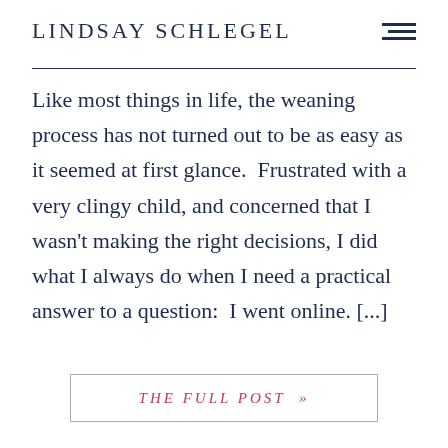LINDSAY SCHLEGEL
Like most things in life, the weaning process has not turned out to be as easy as it seemed at first glance.  Frustrated with a very clingy child, and concerned that I wasn't making the right decisions, I did what I always do when I need a practical answer to a question:  I went online. [...]
THE FULL POST  »